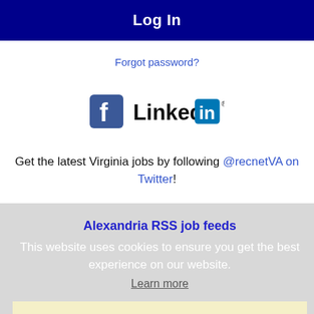Log In
Forgot password?
[Figure (logo): Facebook and LinkedIn social media logos side by side]
Get the latest Virginia jobs by following @recnetVA on Twitter!
Alexandria RSS job feeds
This website uses cookies to ensure you get the best experience on our website.
Learn more
Got it!
JOB SEEKERS
Search Alexandria jobs